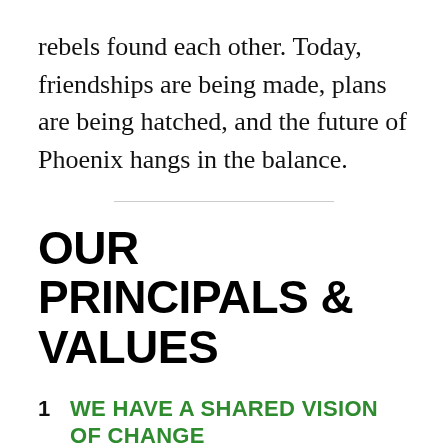rebels found each other. Today, friendships are being made, plans are being hatched, and the future of Phoenix hangs in the balance.
OUR PRINCIPALS & VALUES
1   WE HAVE A SHARED VISION OF CHANGE
Creating a world that is fit for generations to come.